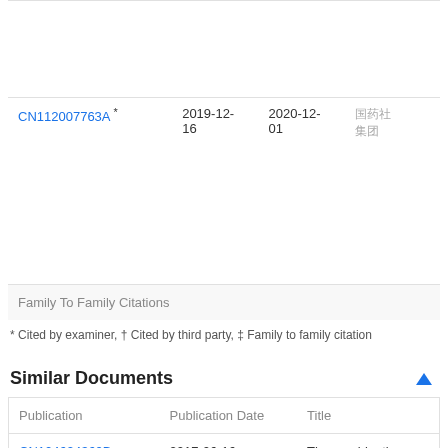| Publication | Priority Date | Publication Date | Assignee |
| --- | --- | --- | --- |
| CN112007763A * | 2019-12-16 | 2020-12-01 | （Chinese chars） |
| Family To Family Citations |  |  |  |
* Cited by examiner, † Cited by third party, ‡ Family to family citation
Similar Documents
| Publication | Publication Date | Title |
| --- | --- | --- |
| CN104624360B | 2017-06-16 | The combination medicament and method of the family of kyanite |